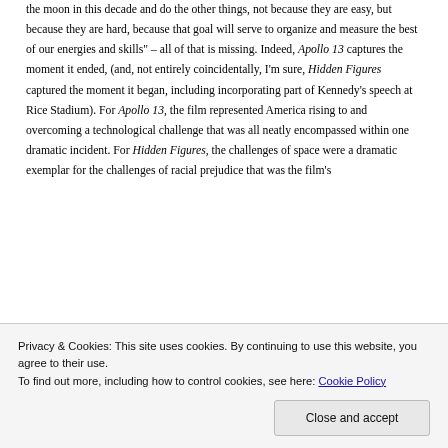the moon in this decade and do the other things, not because they are easy, but because they are hard, because that goal will serve to organize and measure the best of our energies and skills" – all of that is missing. Indeed, Apollo 13 captures the moment it ended, (and, not entirely coincidentally, I'm sure, Hidden Figures captured the moment it began, including incorporating part of Kennedy's speech at Rice Stadium). For Apollo 13, the film represented America rising to and overcoming a technological challenge that was all neatly encompassed within one dramatic incident. For Hidden Figures, the challenges of space were a dramatic exemplar for the challenges of racial prejudice that was the film's
Privacy & Cookies: This site uses cookies. By continuing to use this website, you agree to their use.
To find out more, including how to control cookies, see here: Cookie Policy
Close and accept